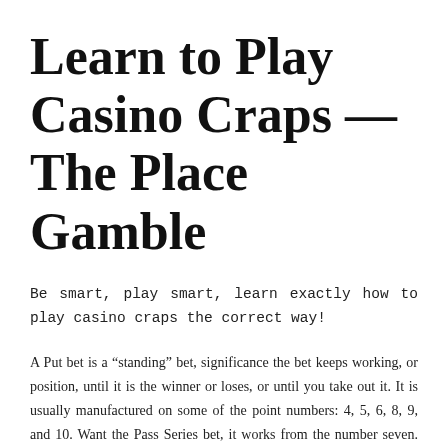Learn to Play Casino Craps — The Place Gamble
Be smart, play smart, learn exactly how to play casino craps the correct way!
A Put bet is a "standing" bet, significance the bet keeps working, or position, until it is the winner or loses, or until you take out it. It is usually manufactured on some of the point numbers: 4, 5, 6, 8, 9, and 10. Want the Pass Series bet, it works from the number seven. After making a new Place bet, typically the only numbers that will